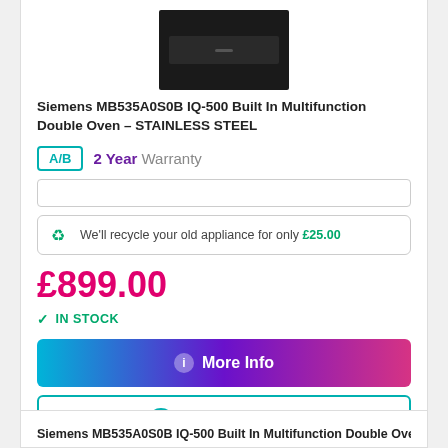[Figure (photo): Product image of a Siemens built-in multifunction double oven in black/dark finish, shown in a card layout]
Siemens MB535A0S0B IQ-500 Built In Multifunction Double Oven – STAINLESS STEEL
A/B  2 Year Warranty
We'll recycle your old appliance for only £25.00
£899.00
IN STOCK
More Info
View In Multibuy
Siemens MB535A0S0B IQ-500 Built In Multifunction Double Oven –